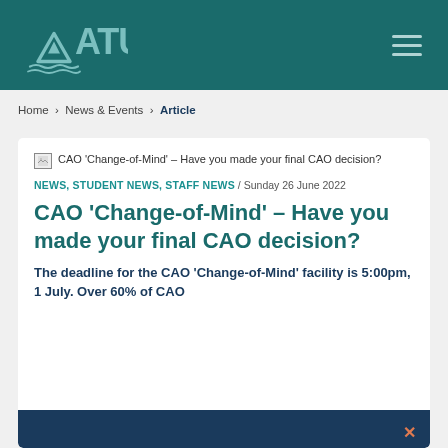[Figure (logo): ATU (Atlantic Technological University) logo with mountain/wave icon in teal on dark teal header background]
Home › News & Events › Article
[Figure (other): Broken image placeholder for: CAO 'Change-of-Mind' – Have you made your final CAO decision?]
NEWS, STUDENT NEWS, STAFF NEWS / Sunday 26 June 2022
CAO 'Change-of-Mind' – Have you made your final CAO decision?
The deadline for the CAO 'Change-of-Mind' facility is 5:00pm, 1 July. Over 60% of CAO